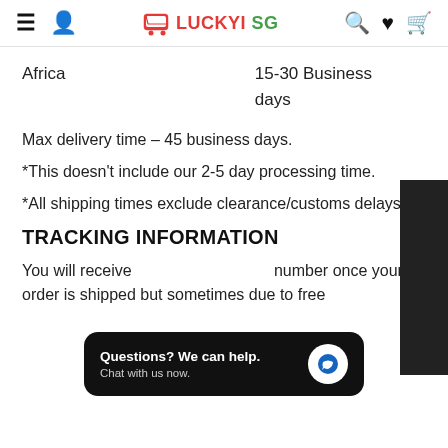LUCKYI SG — navigation header
Africa    15-30 Business days
Max delivery time – 45 business days.
*This doesn't include our 2-5 day processing time.
*All shipping times exclude clearance/customs delays
TRACKING INFORMATION
[Figure (other): Chat popup overlay: 'Questions? We can help. Chat with us now.']
You will receive [tracking] number once your order is shipped but sometimes due to free